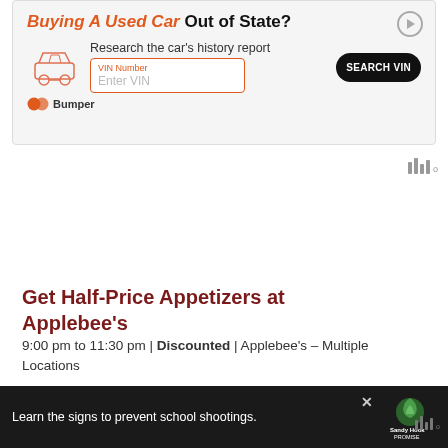[Figure (screenshot): Advertisement banner for Bumper car history service: 'Buying A Used Car Out of State? Research the car's history report. VIN Number. Enter VIN. SEARCH VIN. Bumper']
Get Half-Price Appetizers at Applebee's
9:00 pm to 11:30 pm | Discounted | Applebee's – Multiple Locations
Sunday, August 28, 2022
Get $10 Gift Card Bonus at The Cheesecake Factory
[Figure (screenshot): Bottom advertisement bar: 'Learn the signs to prevent school shootings.' Sandy Hook Promise logo. Dark background.]